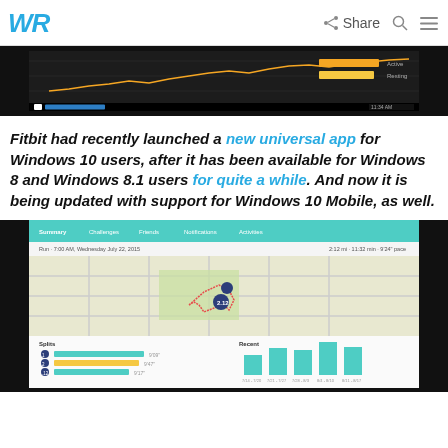WR | Share
[Figure (screenshot): Fitbit app screenshot showing a line chart with orange/yellow lines on dark background, Windows 10 taskbar at bottom]
Fitbit had recently launched a new universal app for Windows 10 users, after it has been available for Windows 8 and Windows 8.1 users for quite a while. And now it is being updated with support for Windows 10 Mobile, as well.
[Figure (screenshot): Fitbit app screenshot showing a map with a running route, splits section with teal/yellow bars, and Recent bar chart with teal bars]